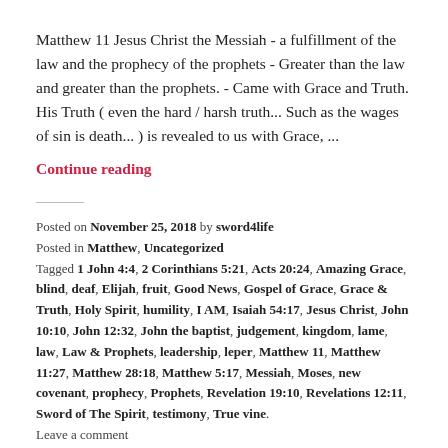Matthew 11 Jesus Christ the Messiah - a fulfillment of the law and the prophecy of the prophets - Greater than the law and greater than the prophets. - Came with Grace and Truth. His Truth ( even the hard / harsh truth... Such as the wages of sin is death... ) is revealed to us with Grace, ...
Continue reading
Posted on November 25, 2018 by sword4life
Posted in Matthew, Uncategorized
Tagged 1 John 4:4, 2 Corinthians 5:21, Acts 20:24, Amazing Grace, blind, deaf, Elijah, fruit, Good News, Gospel of Grace, Grace & Truth, Holy Spirit, humility, I AM, Isaiah 54:17, Jesus Christ, John 10:10, John 12:32, John the baptist, judgement, kingdom, lame, law, Law & Prophets, leadership, leper, Matthew 11, Matthew 11:27, Matthew 28:18, Matthew 5:17, Messiah, Moses, new covenant, prophecy, Prophets, Revelation 19:10, Revelations 12:11, Sword of The Spirit, testimony, True vine.
Leave a comment